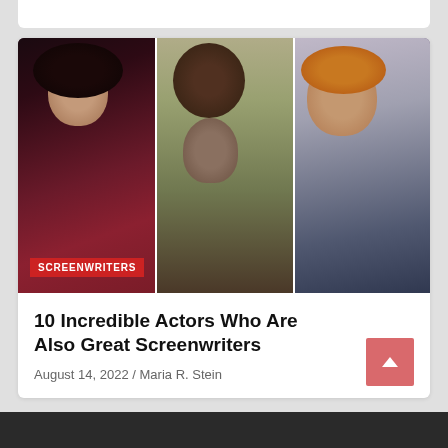[Figure (photo): Triptych of three photos: left panel shows a woman with dark hair in a burgundy leather jacket; center panel shows a man with a German Shepherd dog outdoors; right panel shows a woman with auburn hair wearing glasses and a dark blazer, smiling. A red 'SCREENWRITERS' label badge appears bottom-left of the image.]
10 Incredible Actors Who Are Also Great Screenwriters
August 14, 2022 / Maria R. Stein